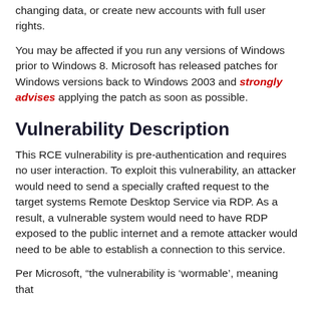changing data, or create new accounts with full user rights.
You may be affected if you run any versions of Windows prior to Windows 8. Microsoft has released patches for Windows versions back to Windows 2003 and strongly advises applying the patch as soon as possible.
Vulnerability Description
This RCE vulnerability is pre-authentication and requires no user interaction. To exploit this vulnerability, an attacker would need to send a specially crafted request to the target systems Remote Desktop Service via RDP. As a result, a vulnerable system would need to have RDP exposed to the public internet and a remote attacker would need to be able to establish a connection to this service.
Per Microsoft, “the vulnerability is ‘wormable’, meaning that